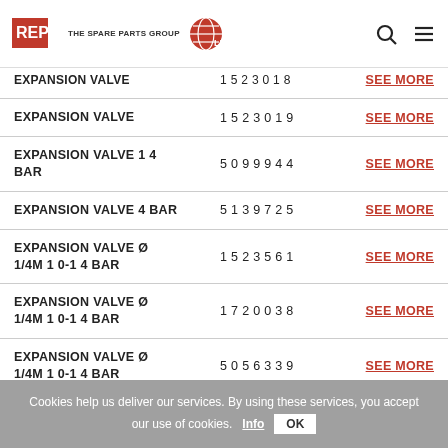REPA - The Spare Parts Group
| Name | Code | Link |
| --- | --- | --- |
| EXPANSION VALVE | 1523018 | SEE MORE |
| EXPANSION VALVE | 1523019 | SEE MORE |
| EXPANSION VALVE 14 BAR | 5099944 | SEE MORE |
| EXPANSION VALVE 4 BAR | 5139725 | SEE MORE |
| EXPANSION VALVE Ø 1/4M 10-14 BAR | 1523561 | SEE MORE |
| EXPANSION VALVE Ø 1/4M 10-14 BAR | 1720038 | SEE MORE |
| EXPANSION VALVE Ø 1/4M 10-14 BAR | 5056339 | SEE MORE |
Cookies help us deliver our services. By using these services, you accept our use of cookies. Info OK